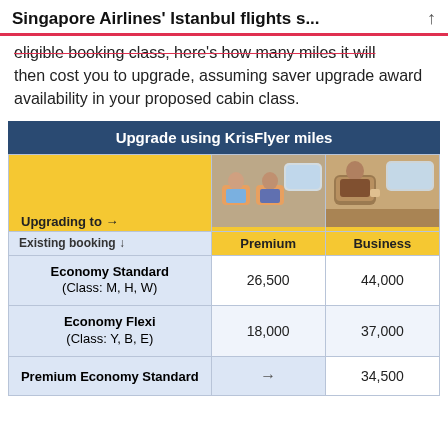Singapore Airlines' Istanbul flights s...
eligible booking class, here's how many miles it will then cost you to upgrade, assuming saver upgrade award availability in your proposed cabin class.
| Existing booking ↓ | Premium | Business |
| --- | --- | --- |
| Economy Standard (Class: M, H, W) | 26,500 | 44,000 |
| Economy Flexi (Class: Y, B, E) | 18,000 | 37,000 |
| Premium Economy Standard | → | 34,500 |